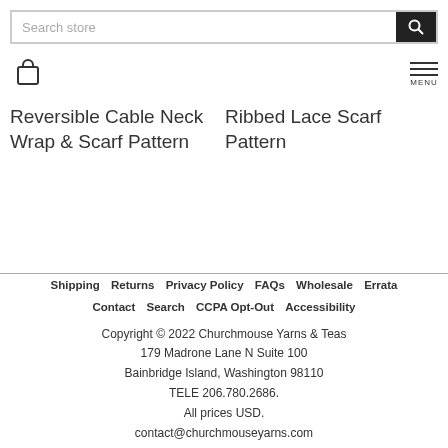Search store | Bag | MENU
Reversible Cable Neck Wrap & Scarf Pattern
Ribbed Lace Scarf Pattern
Shipping  Returns  Privacy Policy  FAQs  Wholesale  Errata  Contact  Search  CCPA Opt-Out  Accessibility
Copyright © 2022 Churchmouse Yarns & Teas
179 Madrone Lane N Suite 100
Bainbridge Island, Washington 98110
TELE 206.780.2686.
All prices USD.
contact@churchmouseyarns.com
Find us on Social Media